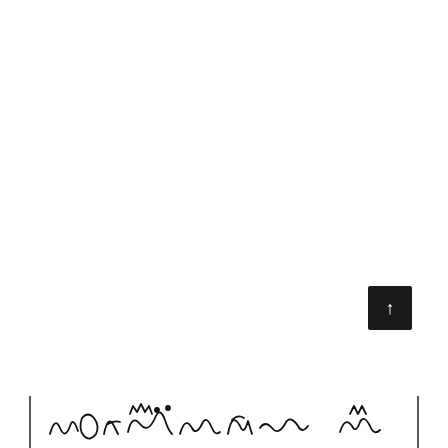[Figure (illustration): Mostly white/blank page with a dark navigation button (up arrow) in the lower right, and a partial view of handwritten or illustrated content at the very bottom of the page.]
↑